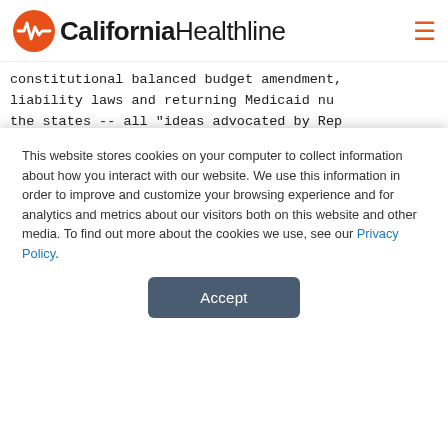California Healthline
constitutional balanced budget amendment,
liability laws and returning Medicaid nu
the states -- all "ideas advocated by Rep
Democrats" (9/96 issue).
    OPINION:  In an editorial titled "Su
Owns the Voters' Hearts:  Politicians are
Rx:  managed care," the LOS ANGELES TIMES
political parties have come to prefer ess
for controlling Medicare costs:  Bring it
This website stores cookies on your computer to collect information about how you interact with our website. We use this information in order to improve and customize your browsing experience and for analytics and metrics about our visitors both on this website and other media. To find out more about the cookies we use, see our Privacy Policy.
Accept